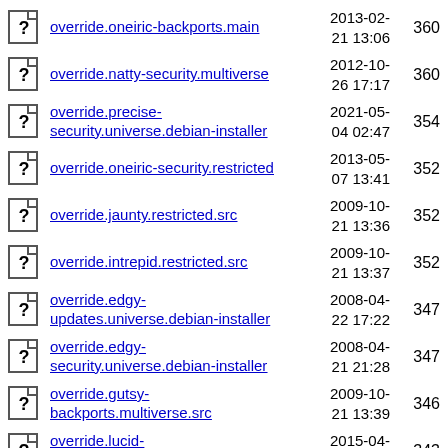override.oneiric-backports.main 2013-02-21 13:06 360
override.natty-security.multiverse 2012-10-26 17:17 360
override.precise-security.universe.debian-installer 2021-05-04 02:47 354
override.oneiric-security.restricted 2013-05-07 13:41 352
override.jaunty.restricted.src 2009-10-21 13:36 352
override.intrepid.restricted.src 2009-10-21 13:37 352
override.edgy-updates.universe.debian-installer 2008-04-22 17:22 347
override.edgy-security.universe.debian-installer 2008-04-21 21:28 347
override.gutsy-backports.multiverse.src 2009-10-21 13:39 346
override.lucid-security.universe.debian-installer 2015-04-30 02:25 343
override.raring-proposed.main.src 2014-01-24 06:00 342
2017-09-...